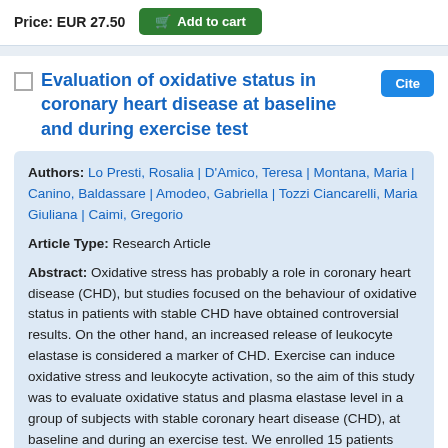Price: EUR 27.50   Add to cart
Evaluation of oxidative status in coronary heart disease at baseline and during exercise test
Authors: Lo Presti, Rosalia | D'Amico, Teresa | Montana, Maria | Canino, Baldassare | Amodeo, Gabriella | Tozzi Ciancarelli, Maria Giuliana | Caimi, Gregorio
Article Type: Research Article
Abstract: Oxidative stress has probably a role in coronary heart disease (CHD), but studies focused on the behaviour of oxidative status in patients with stable CHD have obtained controversial results. On the other hand, an increased release of leukocyte elastase is considered a marker of CHD. Exercise can induce oxidative stress and leukocyte activation, so the aim of this study was to evaluate oxidative status and plasma elastase level in a group of subjects with stable coronary heart disease (CHD), at baseline and during an exercise test. We enrolled 15 patients with previous